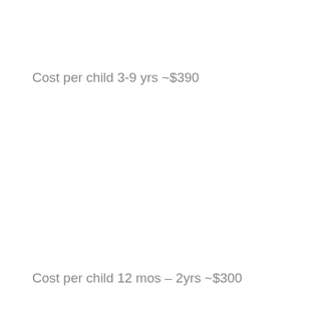Cost per child 3-9 yrs ~$390
Cost per child 12 mos – 2yrs ~$300